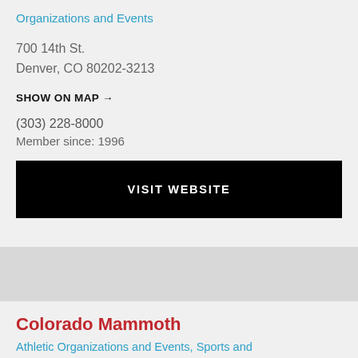Organizations and Events
700 14th St.
Denver, CO 80202-3213
SHOW ON MAP →
(303) 228-8000
Member since: 1996
VISIT WEBSITE
Colorado Mammoth
Athletic Organizations and Events, Sports and